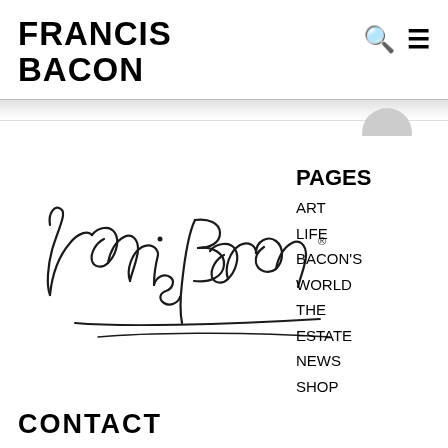FRANCIS BACON
[Figure (illustration): Francis Bacon handwritten signature with registered trademark symbol]
PAGES
ART
LIFE
BACON'S WORLD
THE ESTATE
NEWS
SHOP
CONTACT